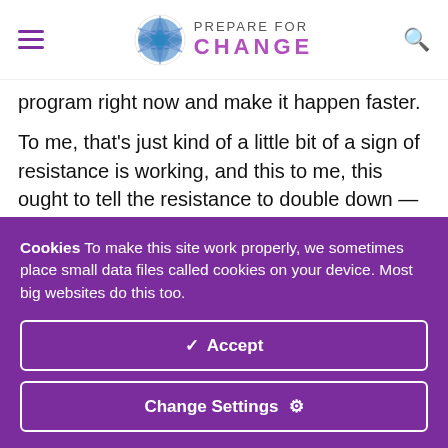PREPARE FOR CHANGE
program right now and make it happen faster.
To me, that's just kind of a little bit of a sign of resistance is working, and this to me, this ought to tell the resistance to double down — double down right now on whatever it is you're doing. Do twice as much as you did last week or last
Cookies To make this site work properly, we sometimes place small data files called cookies on your device. Most big websites do this too.
✓ Accept
Change Settings ⚙